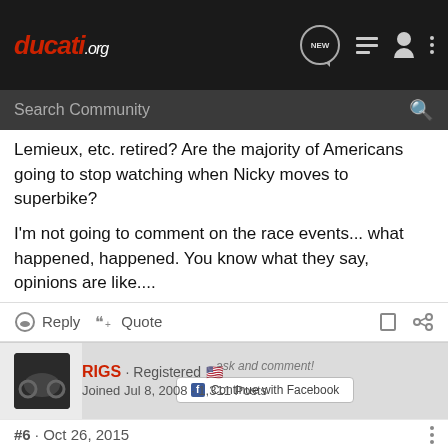ducati.org
Search Community
Lemieux, etc. retired? Are the majority of Americans going to stop watching when Nicky moves to superbike?

I'm not going to comment on the race events... what happened, happened. You know what they say, opinions are like....
Reply  Quote
RIGS · Registered
Joined Jul 8, 2008 · 1,311 Posts
#6 · Oct 26, 2015
Rossi g...
They thi...
[Figure (screenshot): Suzuki GSX-S1000GT advertisement banner at bottom of page]